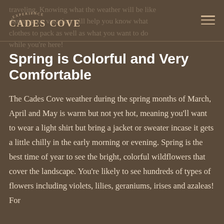traveling. Knowing what the weather will be like during your vacation will help you know what clothes to pack as well as what you want to do while you're here!
[Figure (logo): Experience Cades Cove logo with arc text and hamburger menu icon]
Spring is Colorful and Very Comfortable
The Cades Cove weather during the spring months of March, April and May is warm but not yet hot, meaning you'll want to wear a light shirt but bring a jacket or sweater incase it gets a little chilly in the early morning or evening. Spring is the best time of year to see the bright, colorful wildflowers that cover the landscape. You're likely to see hundreds of types of flowers including violets, lilies, geraniums, irises and azaleas! For